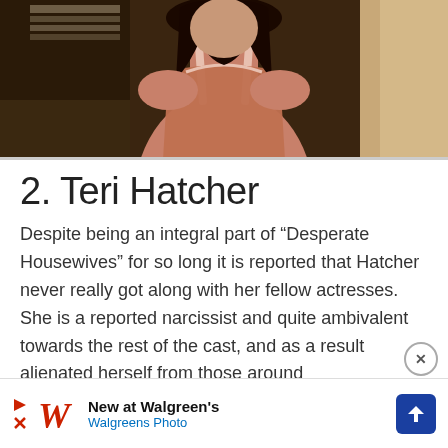[Figure (photo): Woman in sleeveless top standing in a kitchen/room setting, screenshot from TV show Desperate Housewives]
2. Teri Hatcher
Despite being an integral part of “Desperate Housewives” for so long it is reported that Hatcher never really got along with her fellow actresses. She is a reported narcissist and quite ambivalent towards the rest of the cast, and as a result alienated herself from those around her. As if to drive home the point the cast of the show decided to reward the crew that had worked so hard to make the show a success during the filming of its final e…’s
[Figure (screenshot): Advertisement banner: New at Walgreen’s / Walgreens Photo with logo and navigation icon]